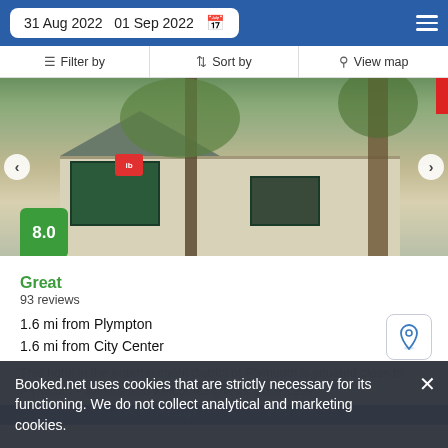31 Aug 2022  01 Sep 2022
Filter by  Sort by  View map
[Figure (photo): Exterior photo of an ibis hotel building with green-trimmed facade, grey slate roof, trees in foreground, carousel arrows on left and right sides, red strip in top-right corner]
8.0
Great
93 reviews
1.6 mi from Plympton
1.6 mi from City Center
This hotel in the entertainment district of Plymouth is situated close to Plymouth Pavilions and welcomes guests since 1999.
Booked.net uses cookies that are strictly necessary for its functioning. We do not collect analytical and marketing cookies.